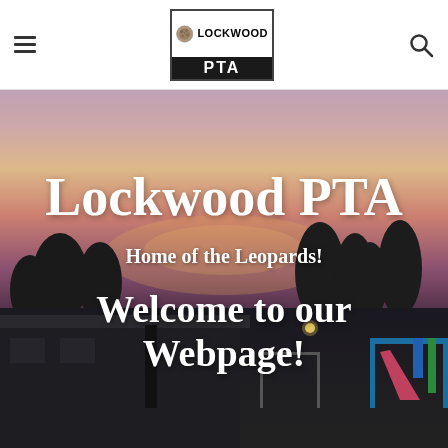Lockwood PTA (navigation header with logo)
[Figure (photo): Outdoor twilight/sunset photo of Lockwood school grounds with playground equipment visible on the right, school buildings on the left, silhouetted trees against a pink and purple sky]
Lockwood PTA
Home of the Leopards!
Welcome to our Webpage!